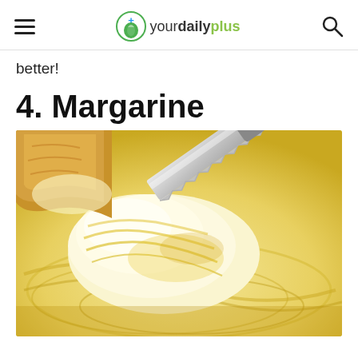yourdailyplus
better!
4. Margarine
[Figure (photo): Close-up photo of margarine being spread with a serrated knife, showing creamy yellow margarine being scooped and spread, with a piece of bread in the background.]